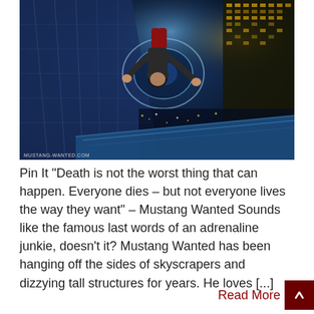[Figure (photo): A person (Mustang Wanted) hanging off the side of a skyscraper at extreme height, photographed from above showing a dizzying cityscape below with illuminated buildings and structures. Watermark reads: MUSTANG-WANTED.COM]
Pin It “Death is not the worst thing that can happen. Everyone dies – but not everyone lives the way they want” – Mustang Wanted Sounds like the famous last words of an adrenaline junkie, doesn't it? Mustang Wanted has been hanging off the sides of skyscrapers and dizzying tall structures for years. He loves [...]
Read More